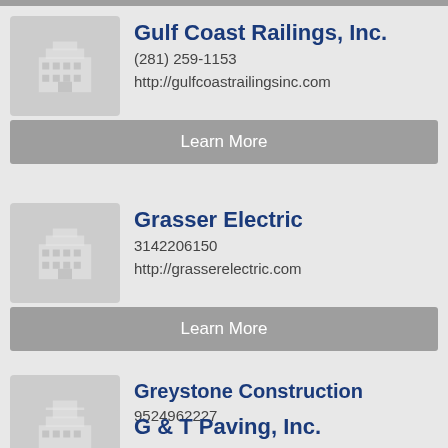Gulf Coast Railings, Inc. | (281) 259-1153 | http://gulfcoastrailingsinc.com
Grasser Electric | 3142206150 | http://grasserelectric.com
Greystone Construction | 9524962227
G & T Paving, Inc.